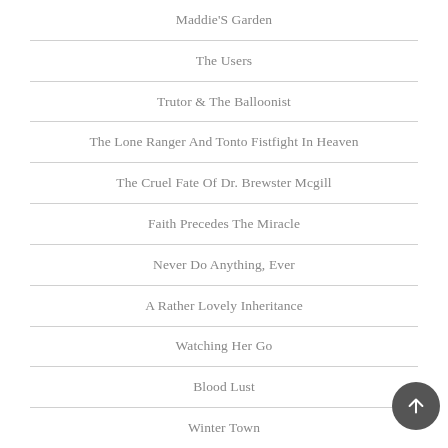Maddie'S Garden
The Users
Trutor & The Balloonist
The Lone Ranger And Tonto Fistfight In Heaven
The Cruel Fate Of Dr. Brewster Mcgill
Faith Precedes The Miracle
Never Do Anything, Ever
A Rather Lovely Inheritance
Watching Her Go
Blood Lust
Winter Town